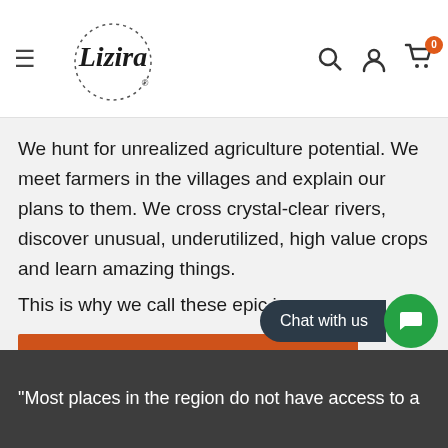Lizira (logo) — navigation header with hamburger menu, search, account, and cart icons
We hunt for unrealized agriculture potential. We meet farmers in the villages and explain our plans to them. We cross crystal-clear rivers, discover unusual, underutilized, high value crops and learn amazing things.
This is why we call these epic journeys.
EXPLORE WITH US
Chat with us
"Most places in the region do not have access to a